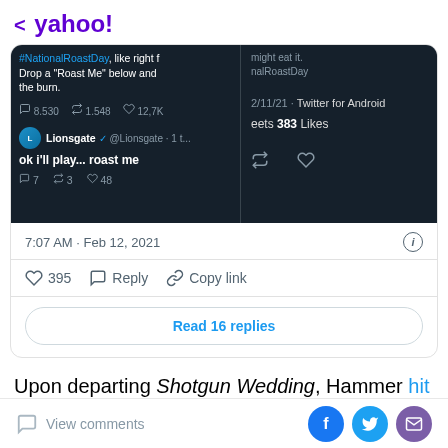< yahoo!
[Figure (screenshot): Twitter/social media screenshot showing tweets from Lionsgate with engagement stats, dated 2/11/21, Twitter for Android. Includes hashtag #NationalRoastDay, tweet text 'ok i'll play... roast me', stats 7 replies, 3 retweets, 48 likes; and right panel showing 383 Likes.]
7:07 AM · Feb 12, 2021
395  Reply  Copy link
Read 16 replies
Upon departing Shotgun Wedding, Hammer hit back at this public indictment: "I'm not responding to these
View comments